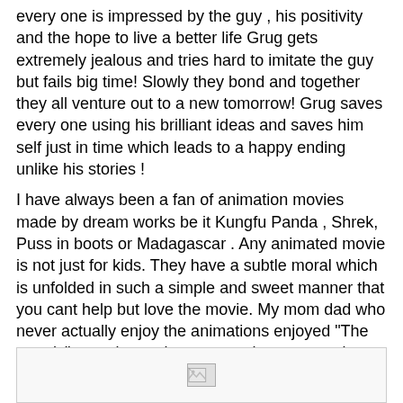every one is impressed by the guy , his positivity and the hope to live a better life Grug gets extremely jealous and tries hard to imitate the guy but fails big time! Slowly they bond and together they all venture out to a new tomorrow! Grug saves every one using his brilliant ideas and saves him self just in time which leads to a happy ending unlike his stories !
I have always been a fan of animation movies made by dream works be it Kungfu Panda , Shrek, Puss in boots or Madagascar . Any animated movie is not just for kids. They have a subtle moral which is unfolded in such a simple and sweet manner that you cant help but love the movie. My mom dad who never actually enjoy the animations enjoyed "The croods" experience due to many human emotions embedded in it , the sensitivities , the father-daughter bonding which actually is touchy when Eep blows horn so that her father will hear and come back to them! The hope which never dies is shown very beautifully in the movie. My mom is all set to watch "The Shrek" series now :)
[Figure (photo): Broken image placeholder at the bottom of the page]